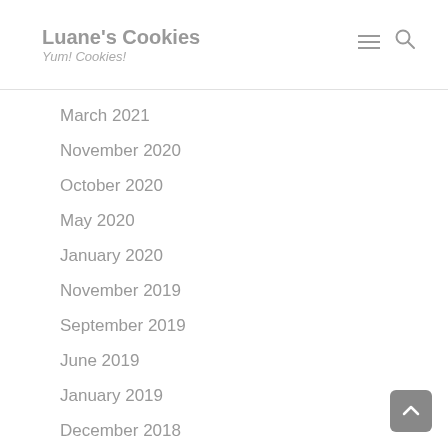Luane's Cookies — Yum! Cookies!
March 2021
November 2020
October 2020
May 2020
January 2020
November 2019
September 2019
June 2019
January 2019
December 2018
November 2018
April 2018
March 2018
October 2017
June 2017
May 2017
March 2017
February 2017
December 2016